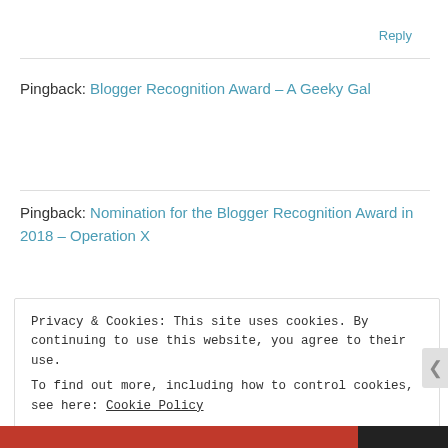Reply
Pingback: Blogger Recognition Award – A Geeky Gal
Pingback: Nomination for the Blogger Recognition Award in 2018 – Operation X
Privacy & Cookies: This site uses cookies. By continuing to use this website, you agree to their use.
To find out more, including how to control cookies, see here: Cookie Policy
Close and accept